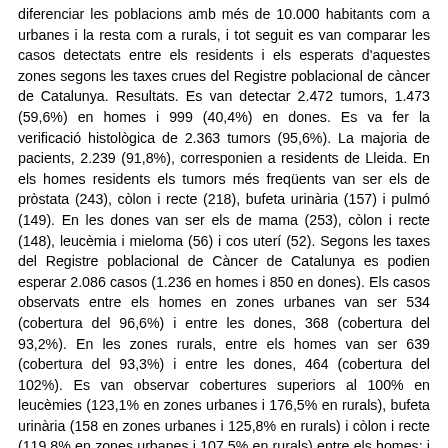diferenciar les poblacions amb més de 10.000 habitants com a urbanes i la resta com a rurals, i tot seguit es van comparar les casos detectats entre els residents i els esperats d'aquestes zones segons les taxes crues del Registre poblacional de càncer de Catalunya. Resultats. Es van detectar 2.472 tumors, 1.473 (59,6%) en homes i 999 (40,4%) en dones. Es va fer la verificació histològica de 2.363 tumors (95,6%). La majoria de pacients, 2.239 (91,8%), corresponien a residents de Lleida. En els homes residents els tumors més freqüents van ser els de pròstata (243), còlon i recte (218), bufeta urinària (157) i pulmó (149). En les dones van ser els de mama (253), còlon i recte (148), leucèmia i mieloma (56) i cos uterí (52). Segons les taxes del Registre poblacional de Càncer de Catalunya es podien esperar 2.086 casos (1.236 en homes i 850 en dones). Els casos observats entre els homes en zones urbanes van ser 534 (cobertura del 96,6%) i entre les dones, 368 (cobertura del 93,2%). En les zones rurals, entre els homes van ser 639 (cobertura del 93,3%) i entre les dones, 464 (cobertura del 102%). Es van observar cobertures superiors al 100% en leucèmies (123,1% en zones urbanes i 176,5% en rurals), bufeta urinària (158 en zones urbanes i 125,8% en rurals) i còlon i recte (119,8% en zones urbanes i 107,5% en rurals) entre els homes; i en leucèmies (150% en zones urbanes i 200% en rurals), encèfal